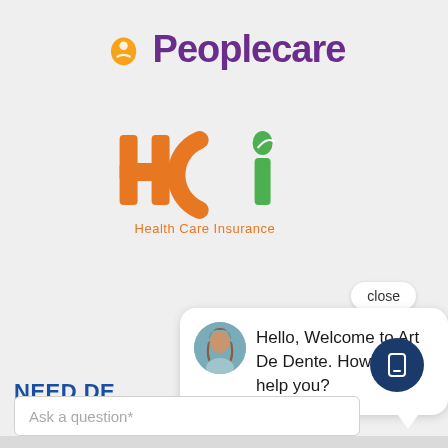[Figure (logo): Peoplecare logo: orange flame/heart icon with purple bold text 'Peoplecare']
[Figure (logo): HCI Health Care Insurance logo: large orange 'HC' letters and green 'i' with leaf, subtitle 'Health Care Insurance' in orange]
close
[Figure (screenshot): Chat widget bubble showing avatar of a woman and message: Hello, Welcome to Art De Dente. How may I help you?]
NEED DE
A QUES
[Figure (other): Dark navy blue circular chat/phone button icon]
Ask a question*